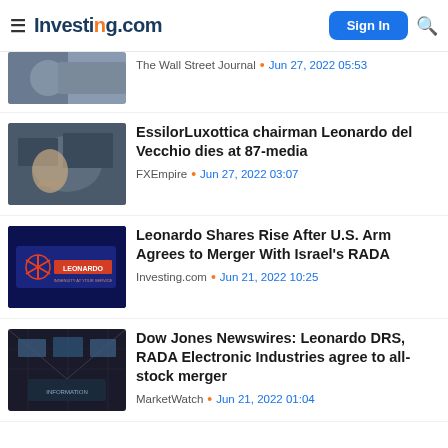Investing.com
[Figure (photo): Partial news thumbnail (Wall Street Journal article) - person with hand raised]
The Wall Street Journal · Jun 27, 2022 05:53
[Figure (photo): Man looking at trading screens, thoughtful expression]
EssilorLuxottica chairman Leonardo del Vecchio dies at 87-media
FXEmpire · Jun 27, 2022 03:07
[Figure (photo): Leonardo company sign with orange logo on dark blue background]
Leonardo Shares Rise After U.S. Arm Agrees to Merger With Israel's RADA
Investing.com · Jun 21, 2022 10:25
[Figure (photo): Airport or transit hall ceiling with screens and lighting]
Dow Jones Newswires: Leonardo DRS, RADA Electronic Industries agree to all-stock merger
MarketWatch · Jun 21, 2022 01:04